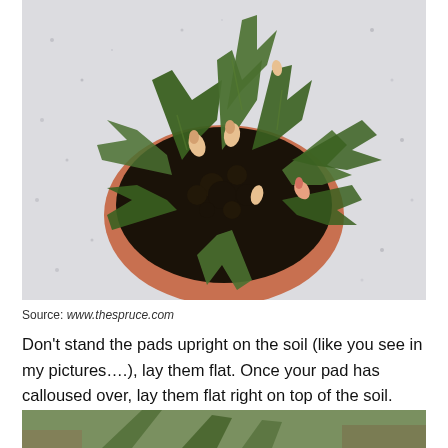[Figure (photo): Overhead view of a Christmas cactus plant with green serrated pads and pink/peach flower buds, growing in a terracotta pot with dark soil, on a white speckled surface.]
Source: www.thespruce.com
Don't stand the pads upright on the soil (like you see in my pictures….), lay them flat. Once your pad has calloused over, lay them flat right on top of the soil.
[Figure (photo): Partial view of a plant with green leaves, cropped at bottom of page.]